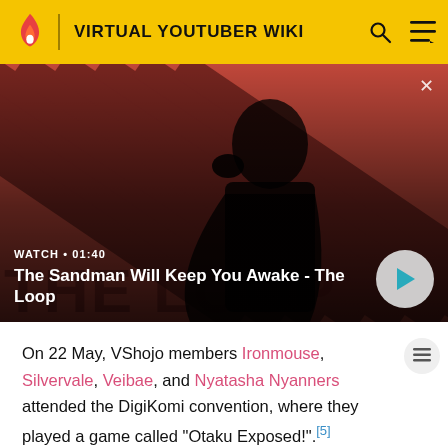VIRTUAL YOUTUBER WIKI
[Figure (screenshot): Video thumbnail for 'The Sandman Will Keep You Awake - The Loop' showing a dark-cloaked figure with a raven on their shoulder against a red and dark diagonal stripe background. Shows WATCH • 01:40 label and a play button.]
On 22 May, VShojo members Ironmouse, Silvervale, Veibae, and Nyatasha Nyanners attended the DigiKomi convention, where they played a game called "Otaku Exposed!".[5]